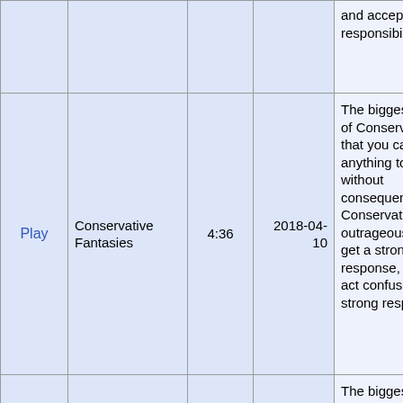|  | Title | Duration | Date | Description |
| --- | --- | --- | --- | --- |
|  |  |  |  | and accept responsibility. |
| Play | Conservative Fantasies | 4:36 | 2018-04-10 | The biggest fantasy of Conservatives is that you can say anything to people without consequences. Conservatives say outrageous things, get a strong response, and then act confused at the strong response. |
| Play | Libertarian Fantasies | 5:26 | 2018-04-06 | The biggest fantasy of Libertarians is that small government will work in our imperfect world. Humans are not always |